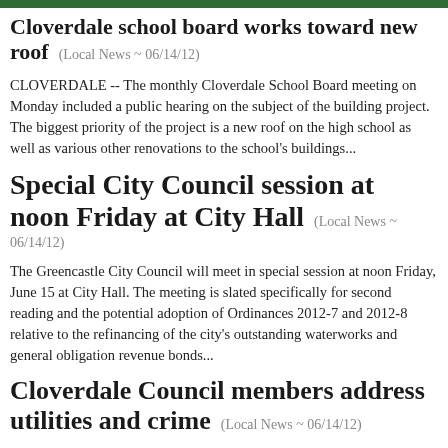Cloverdale school board works toward new roof (Local News ~ 06/14/12)
CLOVERDALE -- The monthly Cloverdale School Board meeting on Monday included a public hearing on the subject of the building project. The biggest priority of the project is a new roof on the high school as well as various other renovations to the school's buildings...
Special City Council session at noon Friday at City Hall (Local News ~ 06/14/12)
The Greencastle City Council will meet in special session at noon Friday, June 15 at City Hall. The meeting is slated specifically for second reading and the potential adoption of Ordinances 2012-7 and 2012-8 relative to the refinancing of the city's outstanding waterworks and general obligation revenue bonds...
Cloverdale Council members address utilities and crime (Local News ~ 06/14/12)
CLOVERDALE -- In a meeting that addressed several old issues, the Cloverdale Town Council maintained composure and made several decisions on Wednesday. Utility Manger Rich Saucerman updated the board in hopes of resolving several issues that have been brought up to the board in recent